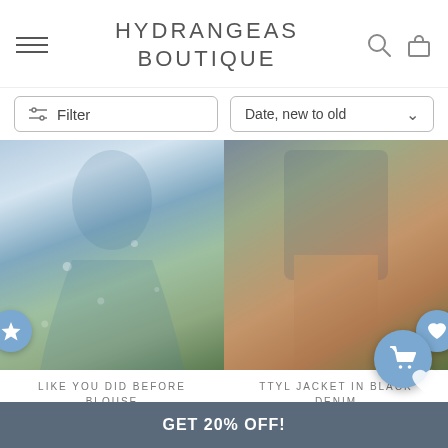HYDRANGEAS BOUTIQUE
Filter | Date, new to old
[Figure (photo): Woman wearing a blue floral long-sleeve blouse/dress, standing outdoors]
LIKE YOU DID BEFORE BLOUSE
$39.00
[Figure (photo): Woman wearing a dark denim jacket over a cream top with rust/orange shorts, standing outdoors]
TTYL JACKET IN BLACK DENIM
$59.00
GET 20% OFF!